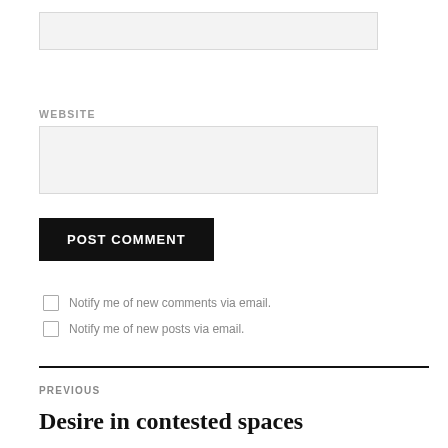[Figure (screenshot): Empty text input box at top of page]
WEBSITE
[Figure (screenshot): Empty website input box]
POST COMMENT
Notify me of new comments via email.
Notify me of new posts via email.
PREVIOUS
Desire in contested spaces